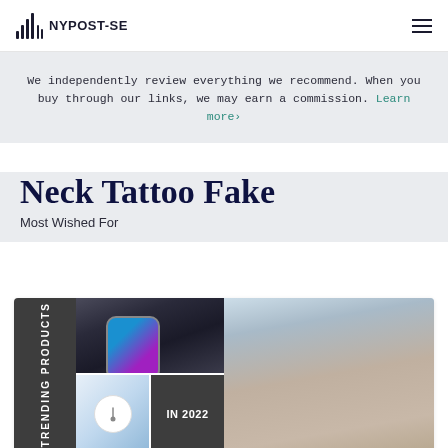NYPOST-SE
We independently review everything we recommend. When you buy through our links, we may earn a commission. Learn more›
Neck Tattoo Fake
Most Wished For
[Figure (photo): Product collage showing trending products: a smartwatch/wireless charger on a phone, a round white thermometer device, a dark card with IN 2022 text, and a woman wearing a blue sweater using a product near her neck/ear]